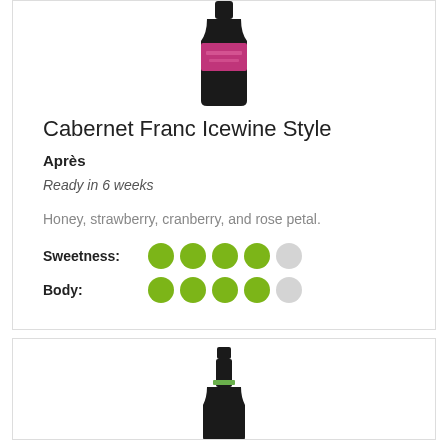[Figure (photo): Wine bottle with pink/magenta label, dark bottle, top portion visible]
Cabernet Franc Icewine Style
Après
Ready in 6 weeks
Honey, strawberry, cranberry, and rose petal.
Sweetness: 4 out of 5 filled dots
Body: 4 out of 5 filled dots
[Figure (photo): Wine bottle with green label band, dark bottle, top portion visible]